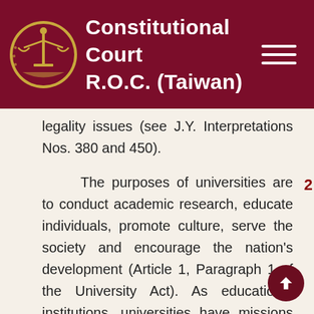Constitutional Court R.O.C. (Taiwan)
legality issues (see J.Y. Interpretations Nos. 380 and 450).
The purposes of universities are to conduct academic research, educate individuals, promote culture, serve the society and encourage the nation's development (Article 1, Paragraph 1 of the University Act). As educational institutions, universities have missions to grow national morality and cultivate students' healthy and sound character (see Article